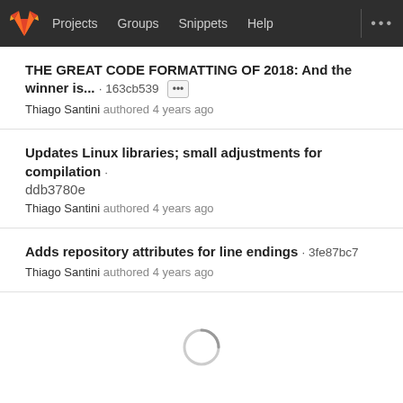GitLab navigation bar: Projects, Groups, Snippets, Help
THE GREAT CODE FORMATTING OF 2018: And the winner is... · 163cb539 [...]
Thiago Santini authored 4 years ago
Updates Linux libraries; small adjustments for compilation · ddb3780e
Thiago Santini authored 4 years ago
Adds repository attributes for line endings · 3fe87bc7
Thiago Santini authored 4 years ago
[Figure (other): Loading spinner circle icon]